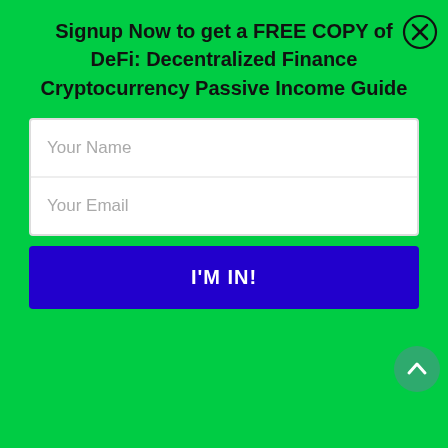Signup Now to get a FREE COPY of DeFi: Decentralized Finance
Cryptocurrency Passive Income Guide
having to deal with multiple exchanges and withdrew their funds from Decentraland altogether.
Problems with Decentraland
Now that we've looked at some potential factors influencing the MANA token price, let's talk about what problems Decentraland actually faces.
Scalability and Downtime